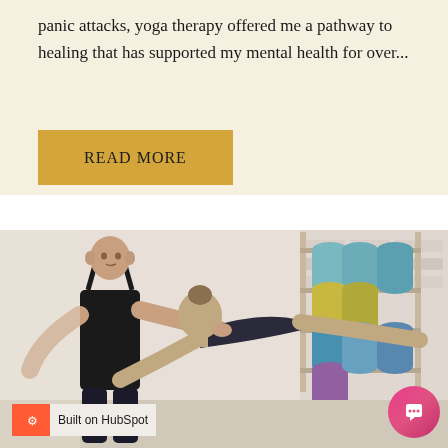panic attacks, yoga therapy offered me a pathway to healing that has supported my mental health for over...
READ MORE
[Figure (photo): A yoga instructor with a shaved head wearing a black sports bra and leggings assists a plus-size student in a yoga pose. The student faces away from the camera wearing a dark sleeveless top. In the background is a wall rack holding various colored yoga mats including teal, yellow, blue, and purple. The studio has white brick walls.]